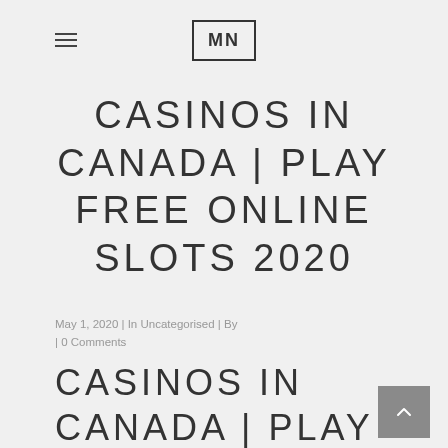MN (logo)
CASINOS IN CANADA | PLAY FREE ONLINE SLOTS 2020
May 1, 2020 | In Uncategorised | By | 0 Comments
CASINOS IN CANADA | PLAY FREE ONLINE